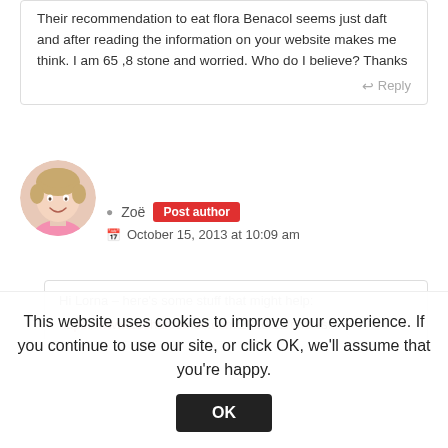Their recommendation to eat flora Benacol seems just daft and after reading the information on your website makes me think. I am 65 ,8 stone and worried. Who do I believe? Thanks
Reply
[Figure (photo): Circular avatar photo of a blonde woman smiling, wearing a pink top]
Zoë  Post author
October 15, 2013 at 10:09 am
Hi Lorna – here's some stuff that might help: https://www.zoeharcombe.com/2010/11/choles...
This website uses cookies to improve your experience. If you continue to use our site, or click OK, we'll assume that you're happy.  OK